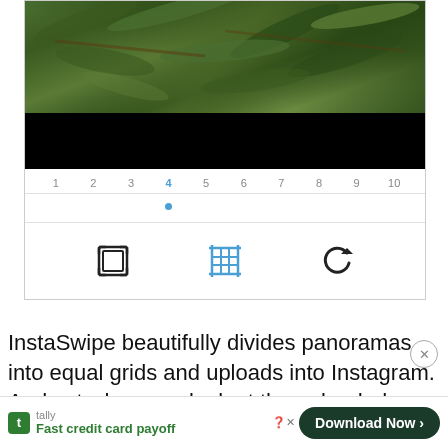[Figure (screenshot): A phone UI showing a panorama image editing app. Top portion shows green leaves photo with a black bar below. Below that is a numbered slider (1-10) with number 4 highlighted in blue and a blue dot underneath. At the bottom of the UI are three icons: a frame/scan icon, a crop/grid icon in blue, and a rotate icon.]
InstaSwipe beautifully divides panoramas into equal grids and uploads into Instagram. And yet when you look at the uploaded conte... ...beautifully...d seam... ...nic
Fast credit card payoff
Download Now →